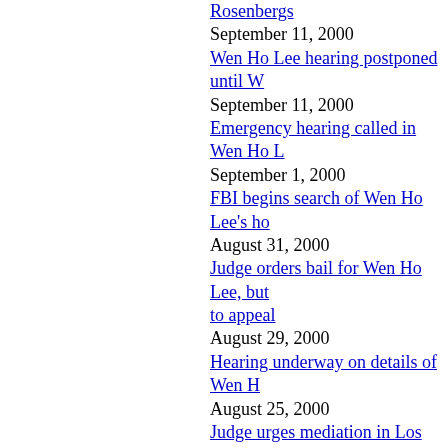Rosenbergs — September 11, 2000
Wen Ho Lee hearing postponed until W... — September 11, 2000
Emergency hearing called in Wen Ho L... — September 1, 2000
FBI begins search of Wen Ho Lee's ho... — August 31, 2000
Judge orders bail for Wen Ho Lee, but ... to appeal — August 29, 2000
Hearing underway on details of Wen H... — August 25, 2000
Judge urges mediation in Los Alamos s... say — August 25, 2000
Terms of Wen Ho Lee's release to be di... — August 24, 2000
Judge needs more time to decide on rel... scientist — August 18, 2000
Scientist charged in nuclear secrets cas... hunting instead — July 7, 2000
Wen Ho Lee sues FBI, other agencies...